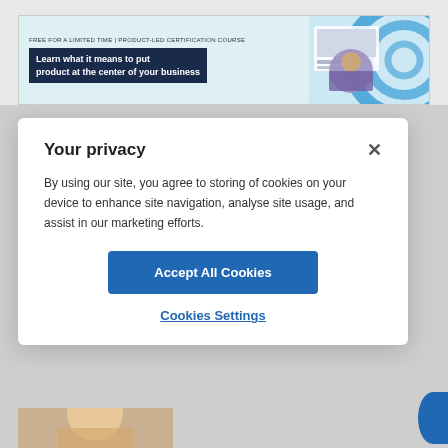[Figure (screenshot): Banner advertisement for a product-led certification course. Top text reads 'FREE FOR A LIMITED TIME | PRODUCT-LED CERTIFICATION COURSE'. Main text in dark navy box: 'Learn what it means to put product at the center of your business'. CTA button: 'SIGN UP FOR FREE ▶'. Decorative graphic with photo and blue shapes on the right.]
Your privacy
By using our site, you agree to storing of cookies on your device to enhance site navigation, analyse site usage, and assist in our marketing efforts.
Accept All Cookies
Cookies Settings